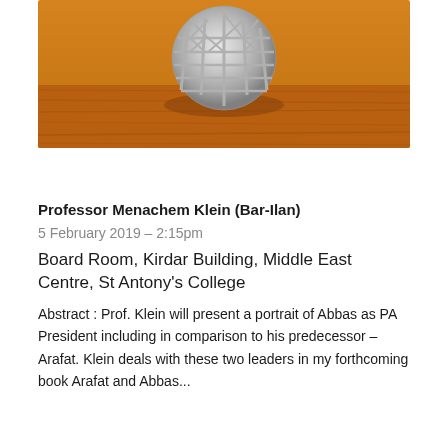[Figure (photo): A silver metallic lattice sphere/ball with Islamic geometric pattern cutouts, sitting on a warm orange-brown wooden surface. The ball casts shadows on the wood beneath it.]
Professor Menachem Klein (Bar-Ilan)
5 February 2019 – 2:15pm
Board Room, Kirdar Building, Middle East Centre, St Antony's College
Abstract : Prof. Klein will present a portrait of Abbas as PA President including in comparison to his predecessor – Arafat. Klein deals with these two leaders in my forthcoming book Arafat and Abbas...